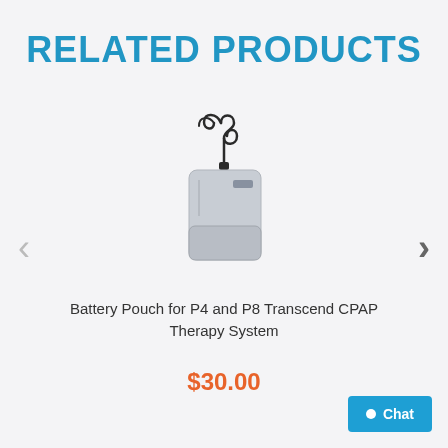RELATED PRODUCTS
[Figure (photo): Battery Pouch product photo showing a gray rectangular pouch with a coiled black cable/connector attached at the top]
Battery Pouch for P4 and P8 Transcend CPAP Therapy System
$30.00